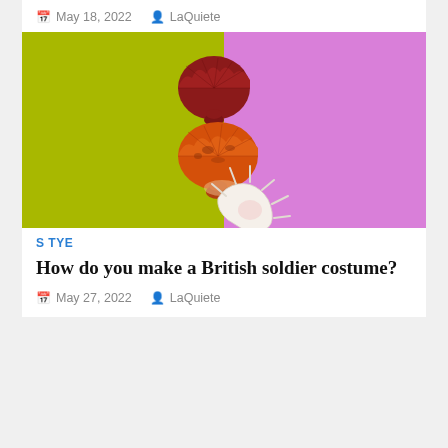May 18, 2022  LaQuiete
[Figure (photo): Two red/orange scallop shells and one white spiky shell arranged on a split olive-green and pink/purple background]
STYLE
How do you make a British soldier costume?
May 27, 2022  LaQuiete